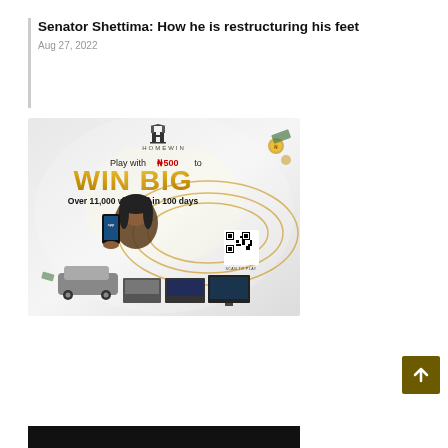Senator Shettima: How he is restructuring his feet
Aug 27, 2022
[Figure (photo): HOMEWIN advertisement: 'Play with ₦500 to WIN BIG – Over 11,000 winners in 100 days'. Features a smiling woman holding a smartphone, a car, appliances, and a QR code with text 'Scan to Play'.]